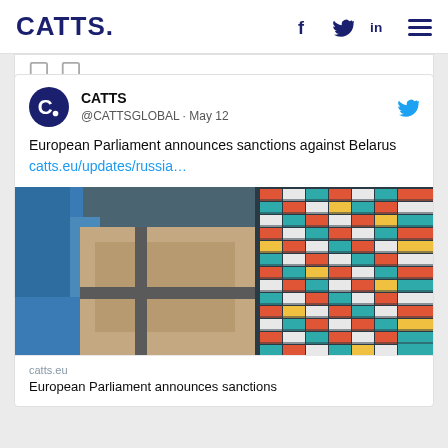CATTS.
[Figure (screenshot): Tweet card from @CATTSGLOBAL dated May 12 about European Parliament announcing sanctions against Belarus, with aerial photo of shipping container port]
catts.eu
European Parliament announces sanctions against Belarus CATTS